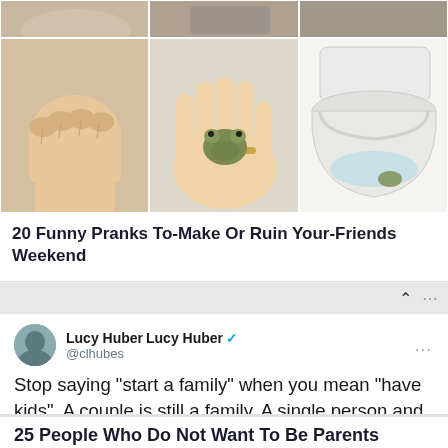[Figure (photo): Two-row grid of photos: top row shows partial images of hands and objects; bottom row shows a fist, a hand holding a small frog, and a toilet bowl.]
20 Funny Pranks To-Make Or Ruin Your-Friends Weekend
[Figure (screenshot): Tweet by Lucy Huber (@clhubes): Stop saying 'start a family' when you mean 'have kids'. A couple is still a family. A single person and her cat is a family. A couple and their plants are still a family. Three weirdly close roommates could be a family. You don't need kids to be a family. 4:33 AM · Apr 18, 2019 · Twitter Web Client]
25 People Who Do Not Want To Be Parents Have...